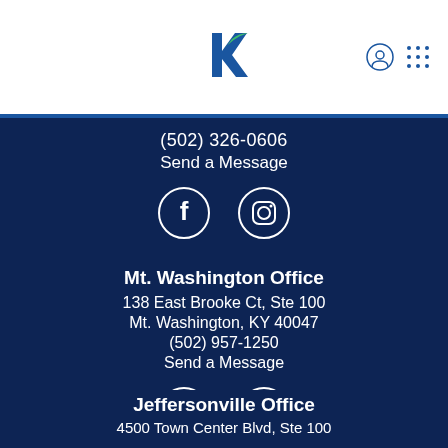[Figure (logo): Stylized K logo in blue and green colors]
(502) 326-0606
Send a Message
[Figure (illustration): Facebook and Instagram social media icons (white circles on dark navy background)]
Mt. Washington Office
138 East Brooke Ct, Ste 100
Mt. Washington, KY 40047
(502) 957-1250
Send a Message
[Figure (illustration): Facebook and Instagram social media icons (white circles on dark navy background)]
Jeffersonville Office